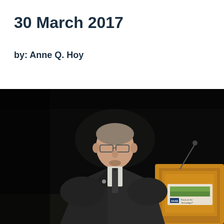30 March 2017
by: Anne Q. Hoy
[Figure (photo): A man in a dark suit and tie speaking at a wooden podium with an AAAS sign, photographed against a dark background at what appears to be a formal conference or lecture event.]